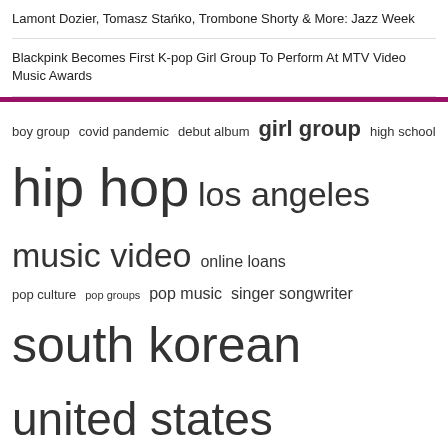Lamont Dozier, Tomasz Stańko, Trombone Shorty & More: Jazz Week
Blackpink Becomes First K-pop Girl Group To Perform At MTV Video Music Awards
[Figure (infographic): Tag cloud with music/culture related tags in varying font sizes: boy group, covid pandemic, debut album, girl group, high school, hip hop, los angeles, music video, online loans, pop culture, pop groups, pop music, singer songwriter, south korean, united states]
© Copyright 2022, All Rights Reserved